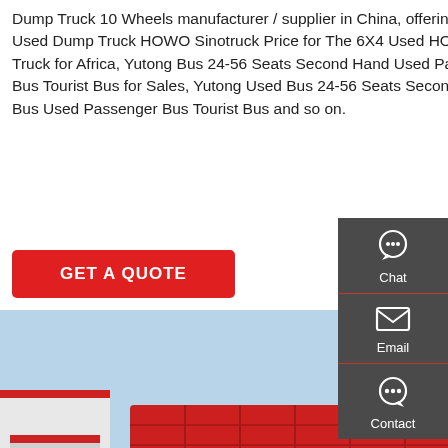Dump Truck 10 Wheels manufacturer / supplier in China, offering 30 Ton Used Dump Truck HOWO Sinotruck Price for The 6X4 Used HOWO Dump Truck for Africa, Yutong Bus 24-56 Seats Second Hand Used Passenger Bus Tourist Bus for Sales, Yutong Used Bus 24-56 Seats Second Hand Bus Used Passenger Bus Tourist Bus and so on.
GET A QUOTE
[Figure (photo): Red HOWO Sinotruck dump truck with 10 wheels parked in a yard, side view, blue sky background, multiple trucks visible in background.]
[Figure (infographic): Sidebar with Chat, Email, and Contact icons on dark gray background]